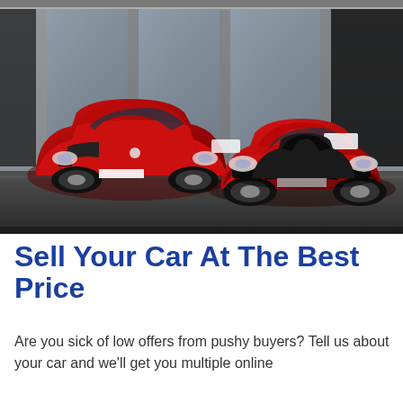[Figure (photo): Two red Alfa Romeo cars (a Giulia sedan on the left and a 4C sports car on the right) parked in front of a dealership with glass facade. The image is partially desaturated — the cars are vivid red while the background is in black and white.]
Sell Your Car At The Best Price
Are you sick of low offers from pushy buyers? Tell us about your car and we'll get you multiple online